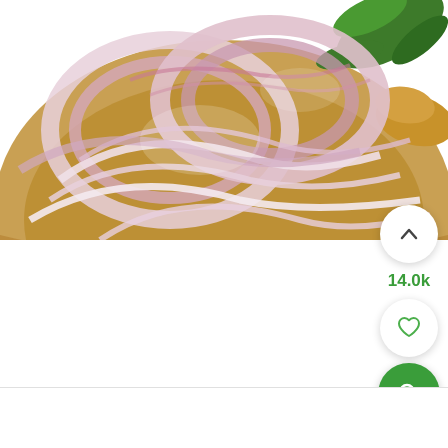[Figure (photo): Close-up photo of sliced red/purple onions in a golden bowl with green herbs and ginger visible in the background]
[Figure (infographic): UI panel with three circular buttons: an upward chevron/arrow button (white), a heart/like button (white), a green search/magnify button; and a count label '14.0k' between the chevron and heart buttons]